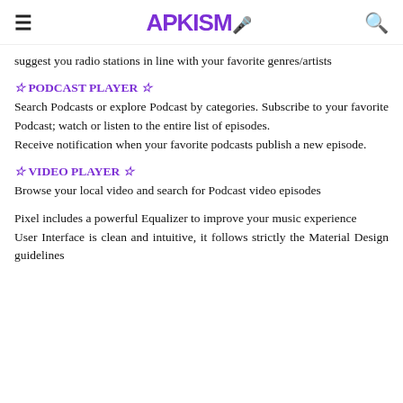≡  APKISM  🔍
suggest you radio stations in line with your favorite genres/artists
☆ PODCAST PLAYER ☆
Search Podcasts or explore Podcast by categories. Subscribe to your favorite Podcast; watch or listen to the entire list of episodes.
Receive notification when your favorite podcasts publish a new episode.
☆ VIDEO PLAYER ☆
Browse your local video and search for Podcast video episodes
Pixel includes a powerful Equalizer to improve your music experience
User Interface is clean and intuitive, it follows strictly the Material Design guidelines